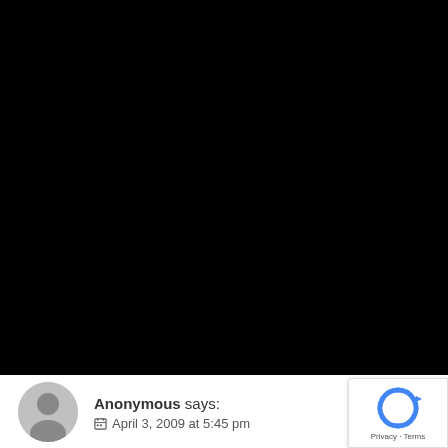[Figure (photo): Large black/dark area occupying the top portion of the page, likely a failed image load or black video frame]
Anonymous says: April 3, 2009 at 5:45 pm
[Figure (logo): Google reCAPTCHA badge in bottom-right corner with reCAPTCHA logo and Privacy · Terms links]